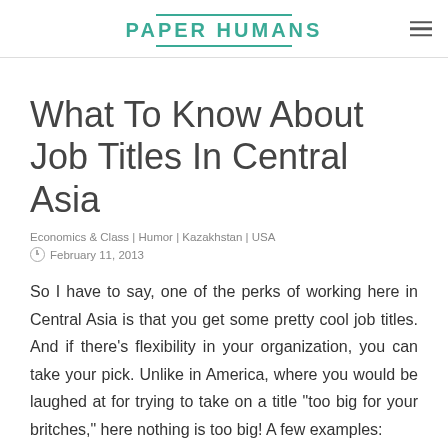PAPER HUMANS
What To Know About Job Titles In Central Asia
Economics & Class | Humor | Kazakhstan | USA
February 11, 2013
So I have to say, one of the perks of working here in Central Asia is that you get some pretty cool job titles. And if there’s flexibility in your organization, you can take your pick. Unlike in America, where you would be laughed at for trying to take on a title “too big for your britches,” here nothing is too big! A few examples: